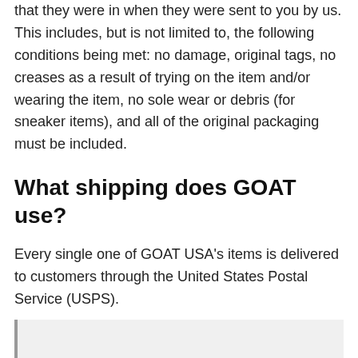The item or items must be in the same condition that they were in when they were sent to you by us. This includes, but is not limited to, the following conditions being met: no damage, original tags, no creases as a result of trying on the item and/or wearing the item, no sole wear or debris (for sneaker items), and all of the original packaging must be included.
What shipping does GOAT use?
Every single one of GOAT USA's items is delivered to customers through the United States Postal Service (USPS).